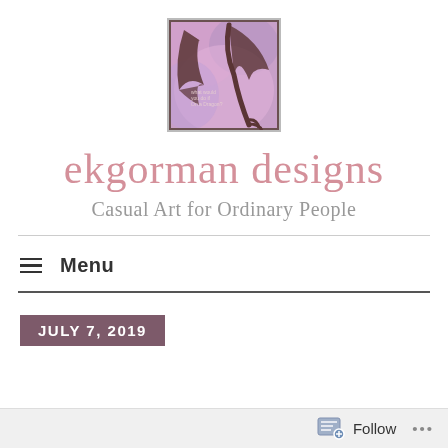[Figure (illustration): Square logo image showing a dragon with dark wings against a pink/purple watercolor background with text overlay]
ekgorman designs
Casual Art for Ordinary People
Menu
JULY 7, 2019
Follow ...